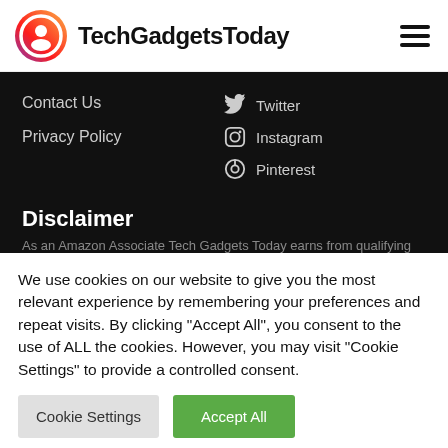TechGadgetsToday
Contact Us
Privacy Policy
Twitter
Instagram
Pinterest
Disclaimer
As an Amazon Associate Tech Gadgets Today earns from qualifying
We use cookies on our website to give you the most relevant experience by remembering your preferences and repeat visits. By clicking "Accept All", you consent to the use of ALL the cookies. However, you may visit "Cookie Settings" to provide a controlled consent.
Cookie Settings | Accept All